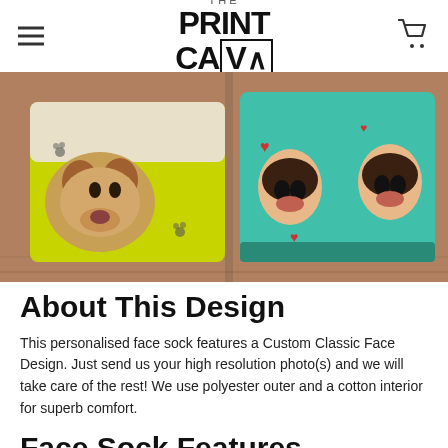THE PRINT CAVE
[Figure (photo): Two pairs of custom face socks folded on a wooden surface. Left pair is yellow-green with a golden retriever face and paw prints. Right pair is teal/turquoise with a child's face repeated and red hearts.]
About This Design
This personalised face sock features a Custom Classic Face Design. Just send us your high resolution photo(s) and we will take care of the rest! We use polyester outer and a cotton interior for superb comfort.
Face Sock Features